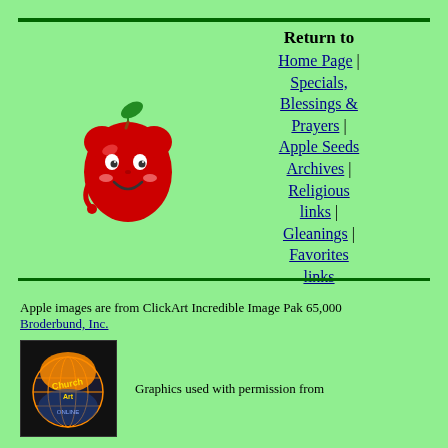Return to
Home Page | Specials, Blessings & Prayers | Apple Seeds Archives | Religious links | Gleanings | Favorites links
[Figure (illustration): Cartoon red apple character with a smiling face, green leaf on top]
Apple images are from ClickArt Incredible Image Pak 65,000 Broderbund, Inc.
[Figure (logo): ChurchArt Online logo - a globe with orange and blue tones and stylized text]
Graphics used with permission from
ChurchArt Online.  They are not to be copied or downloaded.